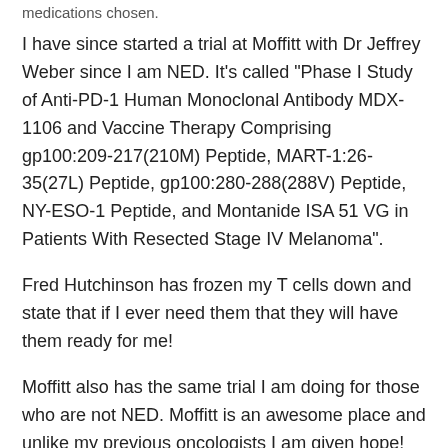medications chosen.
I have since started a trial at Moffitt with Dr Jeffrey Weber since I am NED. It's called "Phase I Study of Anti-PD-1 Human Monoclonal Antibody MDX-1106 and Vaccine Therapy Comprising gp100:209-217(210M) Peptide, MART-1:26-35(27L) Peptide, gp100:280-288(288V) Peptide, NY-ESO-1 Peptide, and Montanide ISA 51 VG in Patients With Resected Stage IV Melanoma".
Fred Hutchinson has frozen my T cells down and state that if I ever need them that they will have them ready for me!
Moffitt also has the same trial I am doing for those who are not NED. Moffitt is an awesome place and unlike my previous oncologists I am given hope!